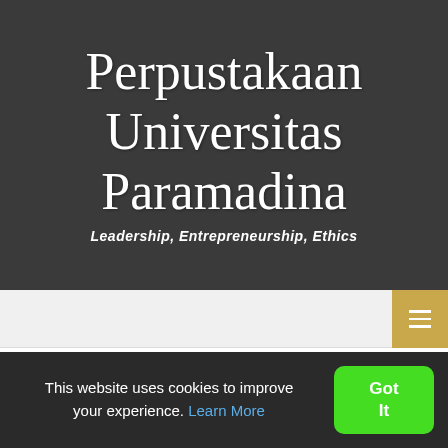Perpustakaan Universitas Paramadina
Leadership, Entrepreneurship, Ethics
[Figure (other): Navigation bar with golden hamburger menu button]
HOME > Uncategorized > flamingo just eat
December 2, 2020
This website uses cookies to improve your experience. Learn More